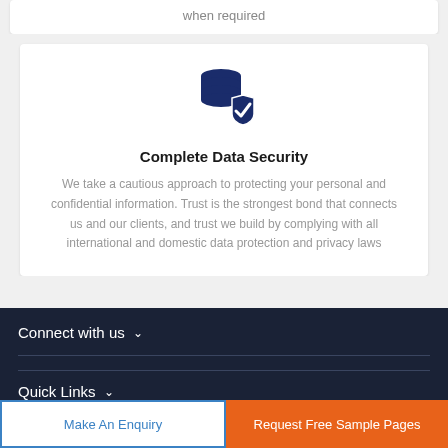when required
[Figure (illustration): Dark blue icon of a database stack with a checkmark shield overlay]
Complete Data Security
We take a cautious approach to protecting your personal and confidential information. Trust is the strongest bond that connects us and our clients, and trust we build by complying with all international and domestic data protection and privacy laws
Connect with us
Quick Links
Make An Enquiry
Request Free Sample Pages